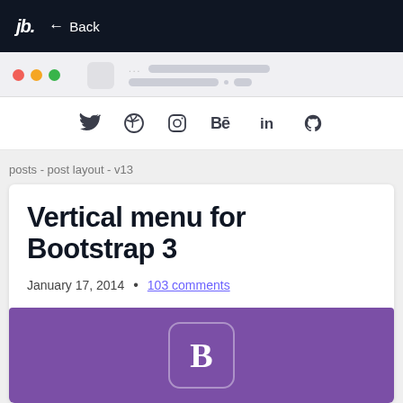jb. ← Back
[Figure (screenshot): Browser chrome mockup with traffic light buttons (red, yellow, green), an icon placeholder, and URL bar placeholder lines]
[Figure (infographic): Social media icons bar: Twitter, Dribbble, Instagram, Behance, LinkedIn, GitHub]
posts - post layout - v13
Vertical menu for Bootstrap 3
January 17, 2014  •  103 comments
[Figure (illustration): Purple background with Bootstrap 'B' logo in a rounded square border]